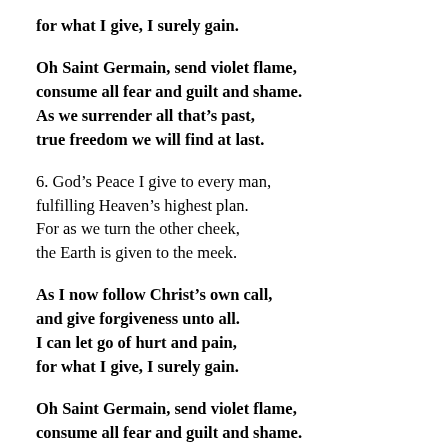for what I give, I surely gain.
Oh Saint Germain, send violet flame,
consume all fear and guilt and shame.
As we surrender all that's past,
true freedom we will find at last.
6. God's Peace I give to every man,
fulfilling Heaven's highest plan.
For as we turn the other cheek,
the Earth is given to the meek.
As I now follow Christ's own call,
and give forgiveness unto all.
I can let go of hurt and pain,
for what I give, I surely gain.
Oh Saint Germain, send violet flame,
consume all fear and guilt and shame.